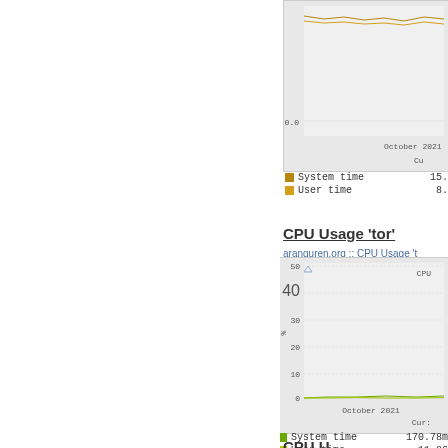[Figure (line-chart): Partial view of CPU usage chart showing 0.0 on y-axis and October 2021 on x-axis, with System time and User time legends showing Cur: 15.x and 8.x values. Gold/yellow colored lines.]
CPU Usage 'tor'
aranguren.org :: CPU Usage 't
[Figure (line-chart): CPU usage line chart for 'tor' process. Y-axis from 0 to 50 in steps of 10. X-axis shows October 2021. Legend: System time Cur: 170.78m, User time Cur: 11.86. Lines near 0 with slight green color.]
System time    170.78m
User time       11.86